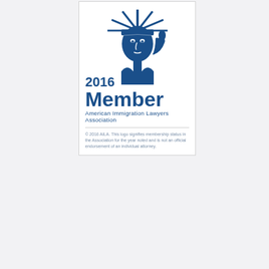[Figure (logo): AILA 2016 Member badge featuring the Statue of Liberty illustration in blue, with text '2016 Member American Immigration Lawyers Association' and a disclaimer about membership status.]
© 2016 AILA. This logo signifies membership status in the Association for the year noted and is not an official endorsement of an individual attorney.